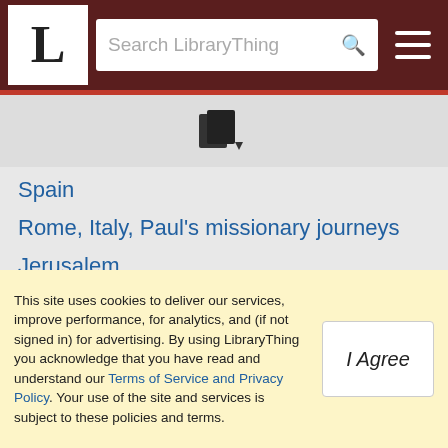LibraryThing — Search LibraryThing navbar
[Figure (illustration): Book/copy icon with a small dropdown arrow, on a light grey background]
Spain
Rome, Italy, Paul's missionary journeys
Jerusalem
(show all 100 items)
Related events
Abraham justified by faith
This site uses cookies to deliver our services, improve performance, for analytics, and (if not signed in) for advertising. By using LibraryThing you acknowledge that you have read and understand our Terms of Service and Privacy Policy. Your use of the site and services is subject to these policies and terms.